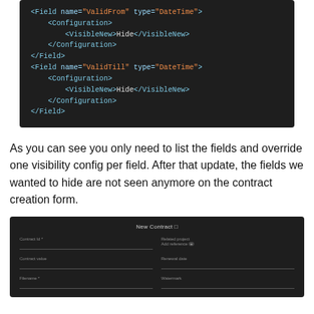[Figure (screenshot): Dark-themed code editor screenshot showing XML configuration with two Field elements: ValidFrom and ValidTill, each of type DateTime with Configuration containing VisibleNew set to Hide.]
As you can see you only need to list the fields and override one visibility config per field. After that update, the fields we wanted to hide are not seen anymore on the contract creation form.
[Figure (screenshot): Dark-themed UI screenshot showing a 'New Contract' form with fields: Contract Id, Related project / Add reference, Contract value, Renewal date, Filename, Watermark.]